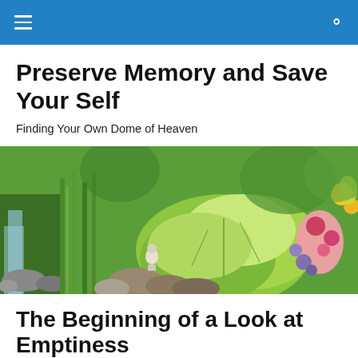Preserve Memory and Save Your Self
Finding Your Own Dome of Heaven
[Figure (photo): A lush garden scene with a waterfall on the left flowing over rocks, tall green grasses, large-leafed hosta plants, a small white Buddha statue, and colorful flowers on the right.]
The Beginning of a Look at Emptiness